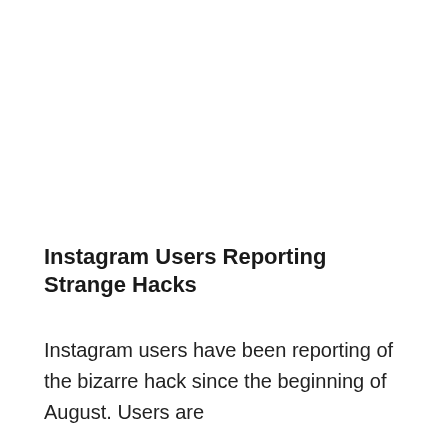Instagram Users Reporting Strange Hacks
Instagram users have been reporting of the bizarre hack since the beginning of August. Users are